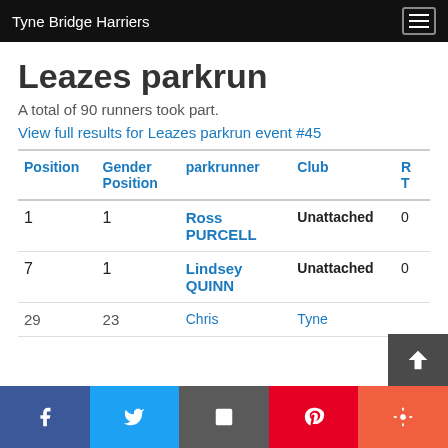Tyne Bridge Harriers
Leazes parkrun
A total of 90 runners took part.
View full results for Leazes parkrun event #45
| Position | Gender Position | parkrunner | Club | R T |
| --- | --- | --- | --- | --- |
| 1 | 1 | Ross PURCELL | Unattached | 0 |
| 7 | 1 | Lindsey QUINN | Unattached | 0 |
| 29 | 23 | Chris | Tyne |  |